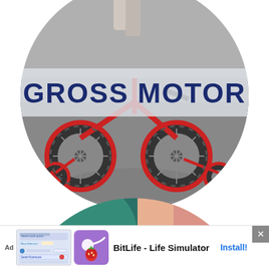[Figure (photo): Circular cropped photo of a red child's tricycle/bicycle with training wheels on pavement, with the text 'GROSS MOTOR' overlaid on a semi-transparent banner across the middle of the circle]
GROSS MOTOR
[Figure (photo): Circular cropped close-up photo of a child's hand picking up a small red ball, with teal/green and pink/red blurred background colors]
[Figure (screenshot): Advertisement bar at the bottom: Ad label, app store screenshots for BitLife - Life Simulator with Install button]